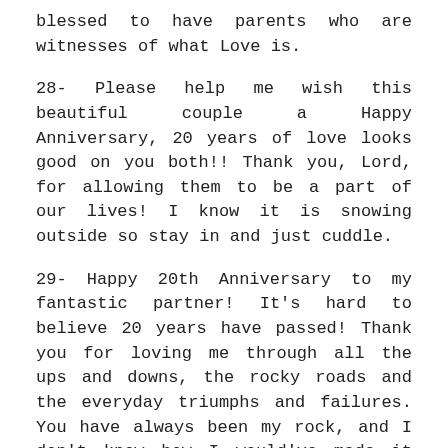blessed to have parents who are witnesses of what Love is.
28- Please help me wish this beautiful couple a Happy Anniversary, 20 years of love looks good on you both!! Thank you, Lord, for allowing them to be a part of our lives! I know it is snowing outside so stay in and just cuddle.
29- Happy 20th Anniversary to my fantastic partner! It's hard to believe 20 years have passed! Thank you for loving me through all the ups and downs, the rocky roads and the everyday triumphs and failures. You have always been my rock, and I don't know how I would've made it through the last 20 years without you! I love you with all my heart.